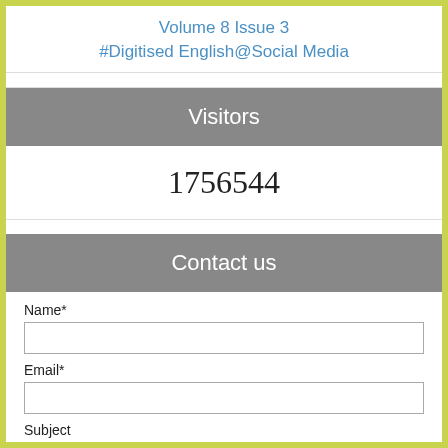Volume 8 Issue 3
#Digitised English@Social Media
Visitors
1756544
Contact us
Name*
Email*
Subject
Your Message